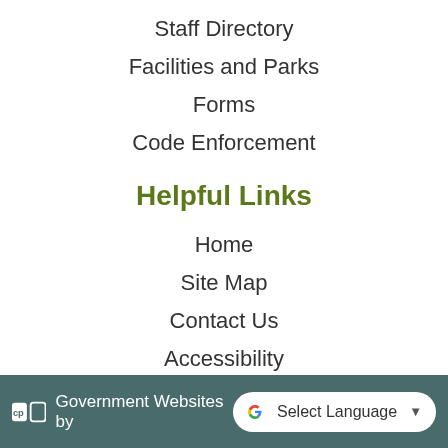Staff Directory
Facilities and Parks
Forms
Code Enforcement
Helpful Links
Home
Site Map
Contact Us
Accessibility
Copyright Notices
Privacy Policy
Government Websites by  [CivicPlus logo]  Select Language ▾